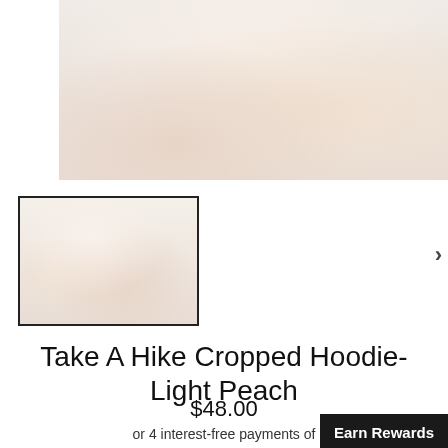[Figure (photo): Close-up photo of model wearing cropped light peach hoodie and white shorts in a bright white studio setting]
[Figure (photo): Thumbnail image of model wearing Take A Hike Cropped Hoodie in Light Peach, selected thumbnail with black border]
Take A Hike Cropped Hoodie- Light Peach
$48.00
or 4 interest-free payments of
Earn Rewards